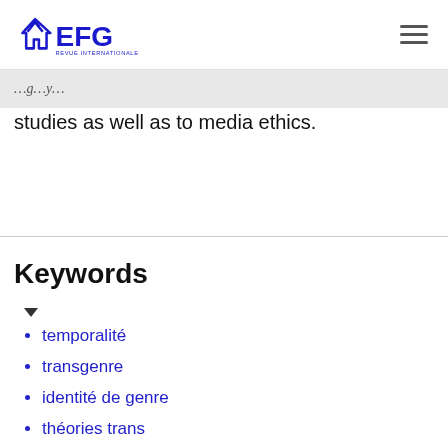EFG REVUE INTERNATIONALE
studies as well as to media ethics.
Keywords
temporalité
transgenre
identité de genre
théories trans